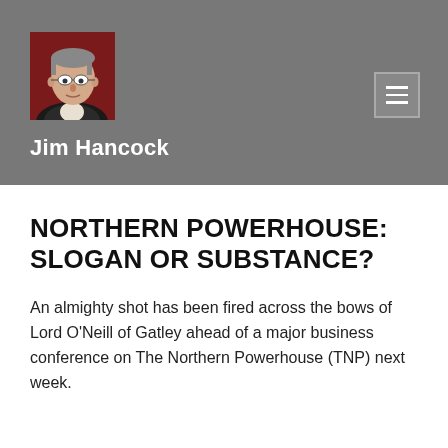[Figure (photo): Headshot photo of Jim Hancock, a middle-aged man with glasses wearing a dark suit, against a dark red background]
Jim Hancock
NORTHERN POWERHOUSE: SLOGAN OR SUBSTANCE?
An almighty shot has been fired across the bows of Lord O'Neill of Gatley ahead of a major business conference on The Northern Powerhouse (TNP) next week.